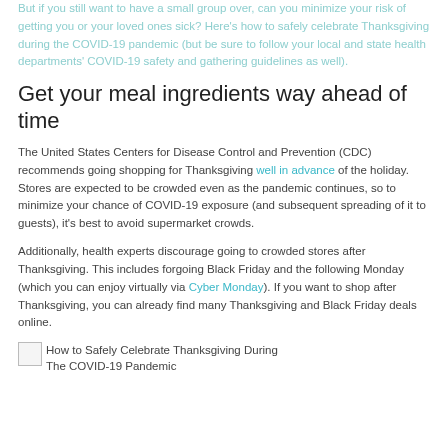But if you still want to have a small group over, can you minimize your risk of getting you or your loved ones sick? Here's how to safely celebrate Thanksgiving during the COVID-19 pandemic (but be sure to follow your local and state health departments' COVID-19 safety and gathering guidelines as well).
Get your meal ingredients way ahead of time
The United States Centers for Disease Control and Prevention (CDC) recommends going shopping for Thanksgiving well in advance of the holiday. Stores are expected to be crowded even as the pandemic continues, so to minimize your chance of COVID-19 exposure (and subsequent spreading of it to guests), it's best to avoid supermarket crowds.
Additionally, health experts discourage going to crowded stores after Thanksgiving. This includes forgoing Black Friday and the following Monday (which you can enjoy virtually via Cyber Monday). If you want to shop after Thanksgiving, you can already find many Thanksgiving and Black Friday deals online.
[Figure (photo): Broken image placeholder with alt text: How to Safely Celebrate Thanksgiving During The COVID-19 Pandemic]